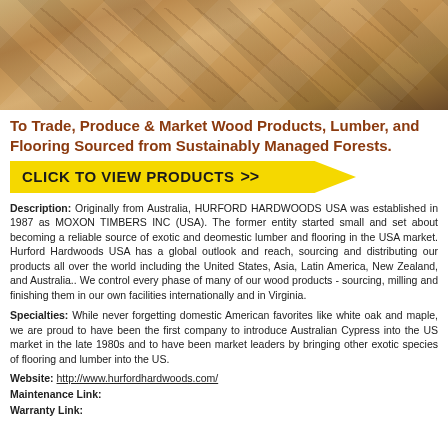[Figure (photo): Close-up photo of wood flooring planks with natural grain and knots, warm golden-brown tones]
To Trade, Produce & Market Wood Products, Lumber, and Flooring Sourced from Sustainably Managed Forests.
[Figure (infographic): Yellow arrow-shaped button with text CLICK TO VIEW PRODUCTS >>]
Description: Originally from Australia, HURFORD HARDWOODS USA was established in 1987 as MOXON TIMBERS INC (USA). The former entity started small and set about becoming a reliable source of exotic and deomestic lumber and flooring in the USA market. Hurford Hardwoods USA has a global outlook and reach, sourcing and distributing our products all over the world including the United States, Asia, Latin America, New Zealand, and Australia.. We control every phase of many of our wood products - sourcing, milling and finishing them in our own facilities internationally and in Virginia.
Specialties: While never forgetting domestic American favorites like white oak and maple, we are proud to have been the first company to introduce Australian Cypress into the US market in the late 1980s and to have been market leaders by bringing other exotic species of flooring and lumber into the US.
Website: http://www.hurfordhardwoods.com/
Maintenance Link:
Warranty Link: